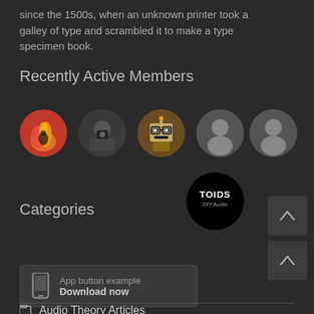since the 1500s, when an unknown printer took a galley of type and scrambled it to make a type specimen book.
Recently Active Members
[Figure (illustration): Row of six circular member avatar photos. First: colorful fire/action illustration. Second: man with camera. Third: pixel robot with glasses. Fourth, fifth, sixth: default grey user silhouette icons. Below the row, a black circular logo reading 'TOIDS DIY Audio'.]
[Figure (screenshot): App download button with mobile phone icon, text 'App button example' and 'Download now']
Categories
Audio Theory Articles